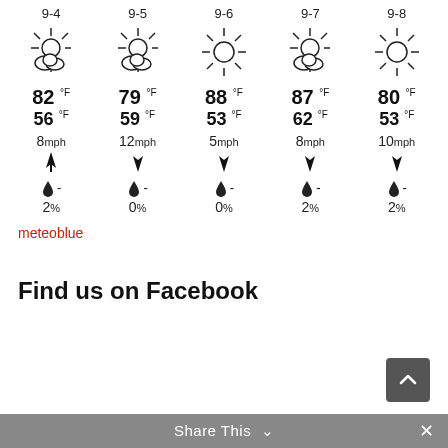[Figure (infographic): 5-day weather forecast grid showing dates 9-4 through 9-8 with weather icons (partly cloudy / sunny), high and low temperatures in Fahrenheit, wind speed in mph, wind direction arrows, precipitation drop icons with dashes, and precipitation percentages.]
meteoblue
Find us on Facebook
Share This